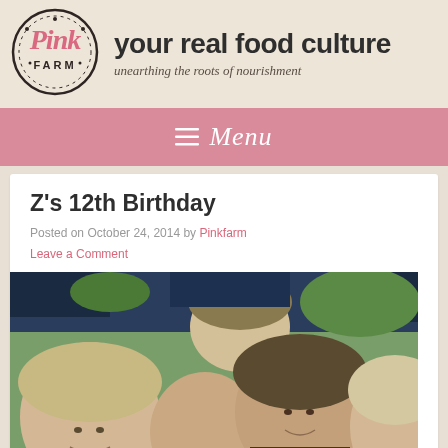[Figure (logo): Pink Farm circular logo with pink script text 'Pink' and dark circular border text 'FARM']
your real food culture
unearthing the roots of nourishment
Menu
Z's 12th Birthday
Posted on October 24, 2014 by Pinkfarm
Leave a Comment
[Figure (photo): Group of children gathered together, smiling and looking down, taken outdoors]